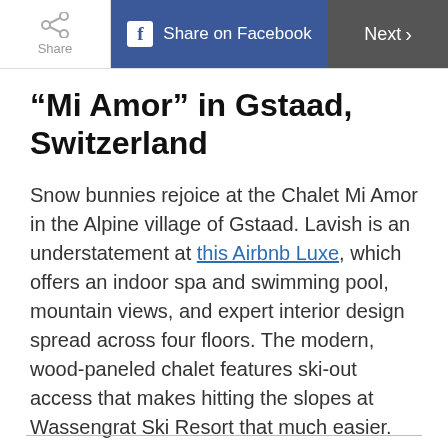Share | Share on Facebook | Next
“Mi Amor” in Gstaad, Switzerland
Snow bunnies rejoice at the Chalet Mi Amor in the Alpine village of Gstaad. Lavish is an understatement at this Airbnb Luxe, which offers an indoor spa and swimming pool, mountain views, and expert interior design spread across four floors. The modern, wood-paneled chalet features ski-out access that makes hitting the slopes at Wassengrat Ski Resort that much easier.
Book now